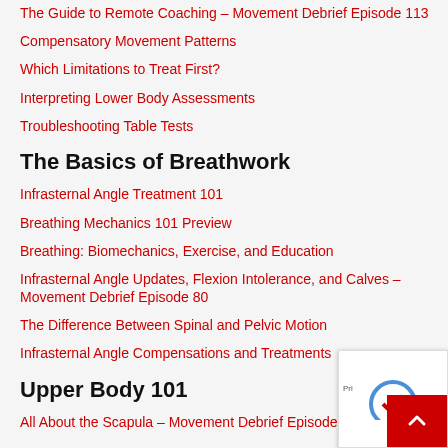The Guide to Remote Coaching – Movement Debrief Episode 113
Compensatory Movement Patterns
Which Limitations to Treat First?
Interpreting Lower Body Assessments
Troubleshooting Table Tests
The Basics of Breathwork
Infrasternal Angle Treatment 101
Breathing Mechanics 101 Preview
Breathing: Biomechanics, Exercise, and Education
Infrasternal Angle Updates, Flexion Intolerance, and Calves – Movement Debrief Episode 80
The Difference Between Spinal and Pelvic Motion
Infrasternal Angle Compensations and Treatments
Upper Body 101
All About the Scapula – Movement Debrief Episode 109